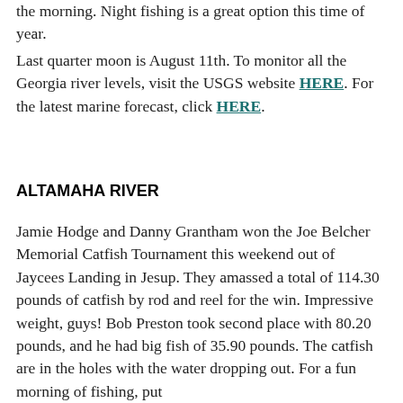the morning. Night fishing is a great option this time of year.
Last quarter moon is August 11th. To monitor all the Georgia river levels, visit the USGS website HERE. For the latest marine forecast, click HERE.
ALTAMAHA RIVER
Jamie Hodge and Danny Grantham won the Joe Belcher Memorial Catfish Tournament this weekend out of Jaycees Landing in Jesup. They amassed a total of 114.30 pounds of catfish by rod and reel for the win. Impressive weight, guys! Bob Preston took second place with 80.20 pounds, and he had big fish of 35.90 pounds. The catfish are in the holes with the water dropping out. For a fun morning of fishing, put